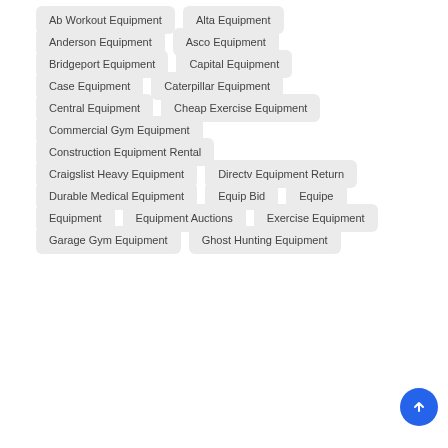Ab Workout Equipment
Alta Equipment
Anderson Equipment
Asco Equipment
Bridgeport Equipment
Capital Equipment
Case Equipment
Caterpillar Equipment
Central Equipment
Cheap Exercise Equipment
Commercial Gym Equipment
Construction Equipment Rental
Craigslist Heavy Equipment
Directv Equipment Return
Durable Medical Equipment
Equip Bid
Equipe
Equipment
Equipment Auctions
Exercise Equipment
Garage Gym Equipment
Ghost Hunting Equipment